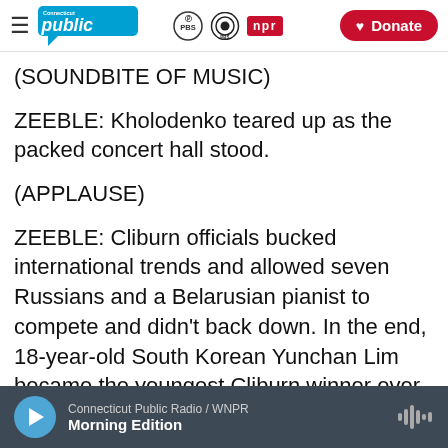Connecticut Public | PBS | NPR | Donate
(SOUNDBITE OF MUSIC)
ZEEBLE: Kholodenko teared up as the packed concert hall stood.
(APPLAUSE)
ZEEBLE: Cliburn officials bucked international trends and allowed seven Russians and a Belarusian pianist to compete and didn't back down. In the end, 18-year-old South Korean Yunchan Lim became the youngest Cliburn winner ever. Lim said he lives to play and was humble in
Connecticut Public Radio / WNPR — Morning Edition